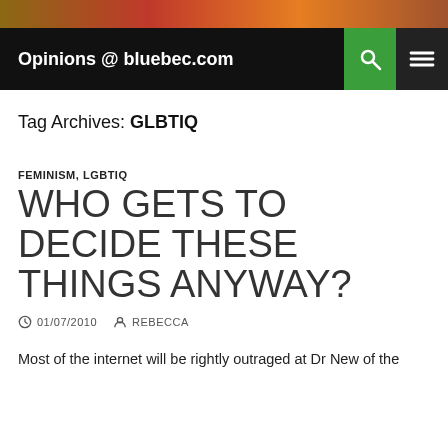[Figure (photo): Colorful header image banner at top of blog page]
Opinions @ bluebec.com
Tag Archives: GLBTIQ
FEMINISM, LGBTIQ
WHO GETS TO DECIDE THESE THINGS ANYWAY?
01/07/2010  REBECCA
Most of the internet will be rightly outraged at Dr New of the